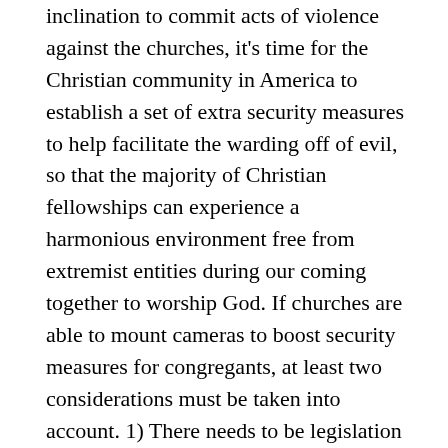inclination to commit acts of violence against the churches, it's time for the Christian community in America to establish a set of extra security measures to help facilitate the warding off of evil, so that the majority of Christian fellowships can experience a harmonious environment free from extremist entities during our coming together to worship God. If churches are able to mount cameras to boost security measures for congregants, at least two considerations must be taken into account. 1) There needs to be legislation introduced by political representation of given communites, so that such cameras will not be used by government agencies to compromise freedom of worshippers for surveillance of Christians who disagree with public policies (Edward Snowden had a good point). 2) Also, cameras need to have properly installed firewall systems (depending on the type of cameras used), so that hackers cannot